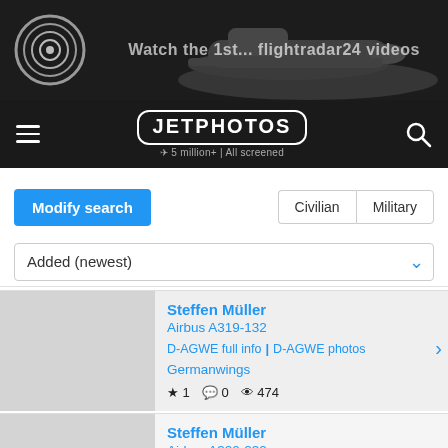[Figure (screenshot): Advertisement banner with flightradar24 logo and airplane background image with text 'Watch the 1st... flightradar24 videos']
JETPHOTOS 5 million+ | All screened
Modify search
Civilian | Military
Added (newest)
Steffen Müller
Airbus A319-132
D-AGWE full info | D-AGWE photos
Germanwings
★ 1  💬 0  👁 474
Steffen Müller
Airbus A320-232
9H-AML full info | 9H-AML photos
Avion Express Malta